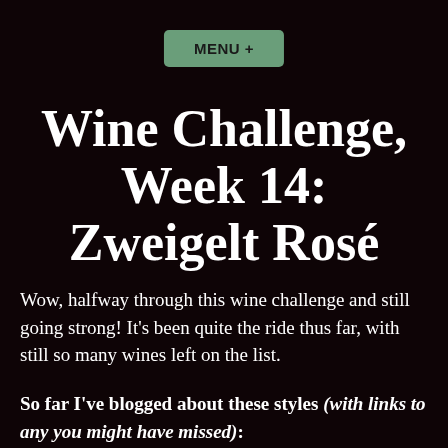MENU +
Wine Challenge, Week 14: Zweigelt Rosé
Wow, halfway through this wine challenge and still going strong! It's been quite the ride thus far, with still so many wines left on the list.
So far I've blogged about these styles (with links to any you might have missed):